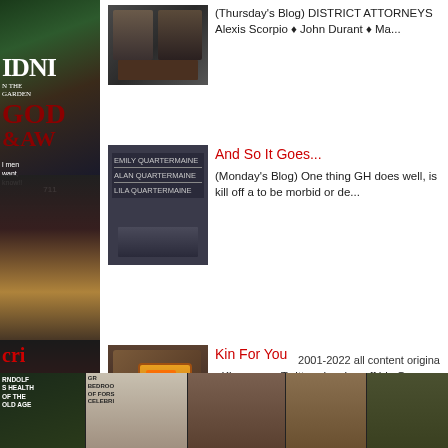[Figure (photo): Left sidebar with magazine cover collage images including text IDNI, GOD, AW, and celebrity photos]
[Figure (photo): Thumbnail of two men in formal/dark attire]
(Thursday's Blog) DISTRICT ATTORNEYS Alexis Scorpio ♦ John Durant ♦ Ma...
[Figure (photo): Thumbnail showing gravestone or memorial with names EMILY QUARTERMAINE, ALAN QUARTERMAINE, LILA QUARTERMAINE]
And So It Goes...
(Monday's Blog) One thing GH does well, is kill off a to be morbid or de...
[Figure (photo): Thumbnail of a man holding a Green Lantern item]
Kin For You
Kin was on Twitter showing off his Green Lantern So, please let...
2001-2022 all content origina
[Figure (photo): Bottom strip of 5 images: magazine covers and celebrity/actor photos]